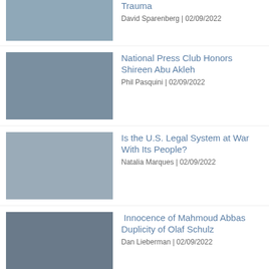Trauma | David Sparenberg | 02/09/2022
National Press Club Honors Shireen Abu Akleh | Phil Pasquini | 02/09/2022
Is the U.S. Legal System at War With Its People? | Natalia Marques | 02/09/2022
Innocence of Mahmoud Abbas Duplicity of Olaf Schulz | Dan Lieberman | 02/09/2022
Patriarchy and Honoring the Culprits of Bilkis Bano Mass Rape-Murder | Dr Ram Puniyani | 02/09/2022